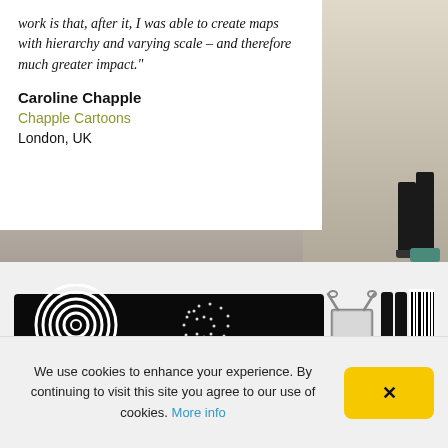work is that, after it, I was able to create maps with hierarchy and varying scale – and therefore much greater impact."
Caroline Chapple
Chapple Cartoons
London, UK
[Figure (photo): Background photo of a gallery or exhibition space, showing a person standing in front of large wall maps/artwork. Only the lower portion of the person (legs and feet) is visible.]
[Figure (photo): Product image showing black and white design stationery items: a patterned pencil case/sleeve with circular geometric designs, a binder clip, three black pencils/markers, and a barcode-pattern item. A single black pencil is shown below.]
We use cookies to enhance your experience. By continuing to visit this site you agree to our use of cookies. More info